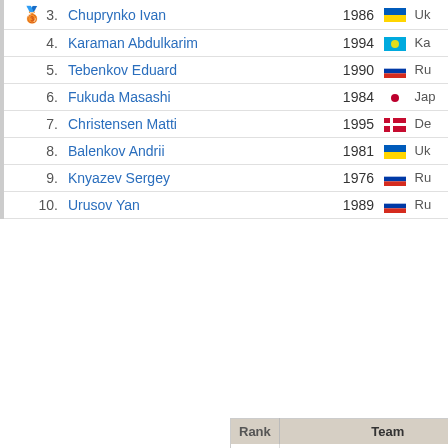| Rank | Name | Year | Country |
| --- | --- | --- | --- |
| 🥉 3. | Chuprynko Ivan | 1986 | Ukraine |
| 4. | Karaman Abdulkarim | 1994 | Kazakhstan |
| 5. | Tebenkov Eduard | 1990 | Russia |
| 6. | Fukuda Masashi | 1984 | Japan |
| 7. | Christensen Matti | 1995 | Denmark |
| 8. | Balenkov Andrii | 1981 | Ukraine |
| 9. | Knyazev Sergey | 1976 | Russia |
| 10. | Urusov Yan | 1989 | Russia |
| Rank | Team |
| --- | --- |
| 1. | Russia |
| 2. | Kazakhstan |
| 3. | Ukraine |
| 4. | Japan |
| 5. | U.S.America |
| 6. | Mongolia |
| 7. | Sweden |
| 8. | Denmark |
| 9. | Poland |
| 10. | Czechia |
| 11. | Great Britain |
| 12. | Hong Kong |